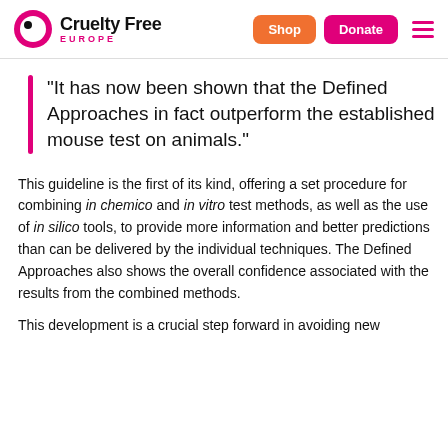Cruelty Free Europe | Shop | Donate
"It has now been shown that the Defined Approaches in fact outperform the established mouse test on animals."
This guideline is the first of its kind, offering a set procedure for combining in chemico and in vitro test methods, as well as the use of in silico tools, to provide more information and better predictions than can be delivered by the individual techniques. The Defined Approaches also shows the overall confidence associated with the results from the combined methods.
This development is a crucial step forward in avoiding new